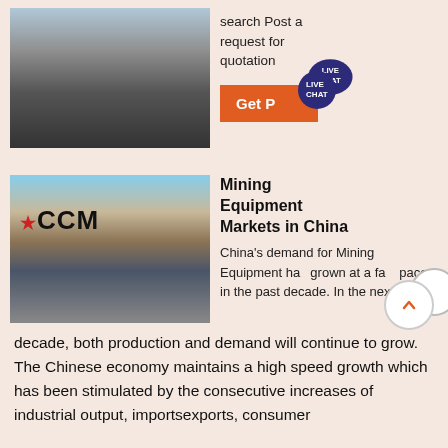[Figure (photo): Conveyor belt and mining equipment structure at a mining site]
search Post a request for quotation
Get P... LIVE CHAT
[Figure (photo): Open pit mine with CCM logo overlaid, showing mining equipment and rock piles]
Mining Equipment Markets in China
China's demand for Mining Equipment has grown at a fast pace in the past decade. In the next decade, both production and demand will continue to grow. The Chinese economy maintains a high speed growth which has been stimulated by the consecutive increases of industrial output, importsexports, consumer